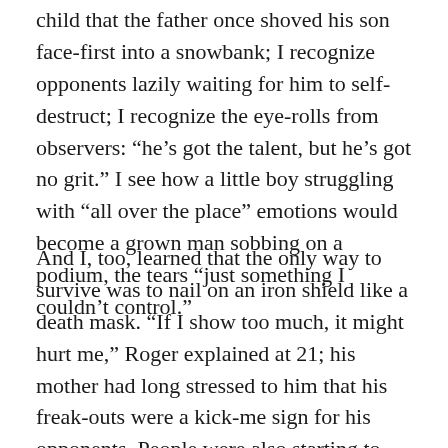child that the father once shoved his son face-first into a snowbank; I recognize opponents lazily waiting for him to self-destruct; I recognize the eye-rolls from observers: “he’s got the talent, but he’s got no grit.” I see how a little boy struggling with “all over the place” emotions would become a grown man sobbing on a podium, the tears “just something I couldn’t control.”
And I, too, learned that the only way to survive was to nail on an iron shield like a death mask. “If I show too much, it might hurt me,” Roger explained at 21; his mother had long stressed to him that his freak-outs were a kick-me sign for his opponents. People were also starting to mock him for it, and he was afraid of being remembered like Safin, as a “crazy maniac.”